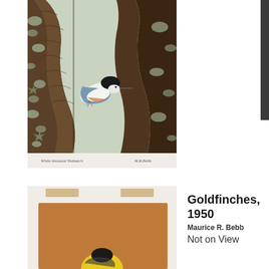[Figure (illustration): Illustration of a White-breasted Nuthatch bird clinging to a tree trunk with lichen. Bird has blue-grey wings, black cap, and white breast. Title 'White-breasted Nuthatch' and signature 'M.R. Bebb' in cursive at bottom.]
White-breasted Nuthatch   M.R. Bebb
[Figure (illustration): Partially visible illustration of Goldfinches on an orange/brown card, taped at top with tan tape strips, showing a yellow bird at bottom.]
Goldfinches, 1950
Maurice R. Bebb
Not on View